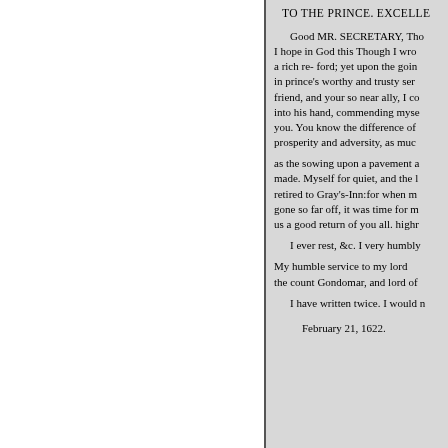TO THE PRINCE. EXCELLE
Good MR. SECRETARY, Tho I hope in God this Though I wro a rich re- ford; yet upon the goin in prince's worthy and trusty ser friend, and your so near ally, I co into his hand, commending myse you. You know the difference of prosperity and adversity, as muc
as the sowing upon a pavement a made. Myself for quiet, and the retired to Gray's-Inn:for when m gone so far off, it was time for m us a good return of you all. highr
I ever rest, &c. I very humbly
My humble service to my lord the count Gondomar, and lord of
I have written twice. I would n
February 21, 1622.